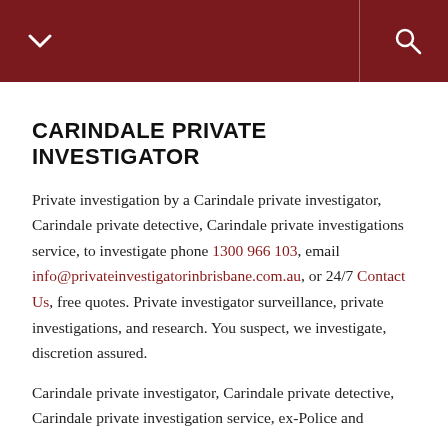Navigation bar with menu chevron and search icon
CARINDALE PRIVATE INVESTIGATOR
Private investigation by a Carindale private investigator, Carindale private detective, Carindale private investigations service, to investigate phone 1300 966 103, email info@privateinvestigatorinbrisbane.com.au, or 24/7 Contact Us, free quotes. Private investigator surveillance, private investigations, and research. You suspect, we investigate, discretion assured.
Carindale private investigator, Carindale private detective, Carindale private investigation service, ex-Police and